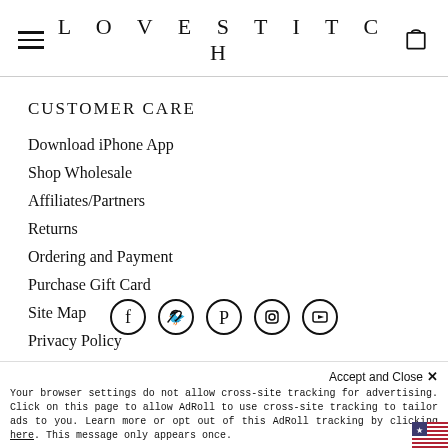LOVESTITCH
CUSTOMER CARE
Download iPhone App
Shop Wholesale
Affiliates/Partners
Returns
Ordering and Payment
Purchase Gift Card
Site Map
Privacy Policy
[Figure (illustration): Social media icons row: Facebook, Twitter, Pinterest, Instagram, YouTube — each in a circle]
Accept and Close ✕
Your browser settings do not allow cross-site tracking for advertising. Click on this page to allow AdRoll to use cross-site tracking to tailor ads to you. Learn more or opt out of this AdRoll tracking by clicking here. This message only appears once.